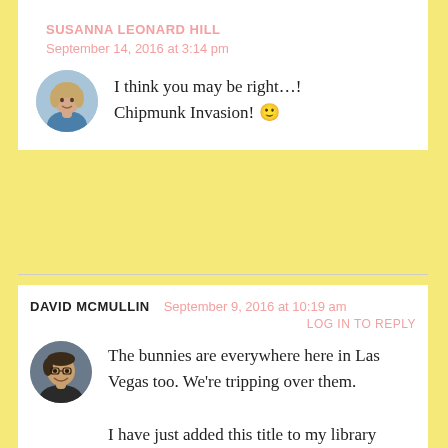SUSANNA LEONARD HILL
September 14, 2016 at 3:14 pm
I think you may be right...! Chipmunk Invasion! 🙂
DAVID MCMULLIN   September 9, 2016 at 10:19 am
LOG IN TO REPLY
The bunnies are everywhere here in Las Vegas too. We're tripping over them.

I have just added this title to my library queue. Looks fun.